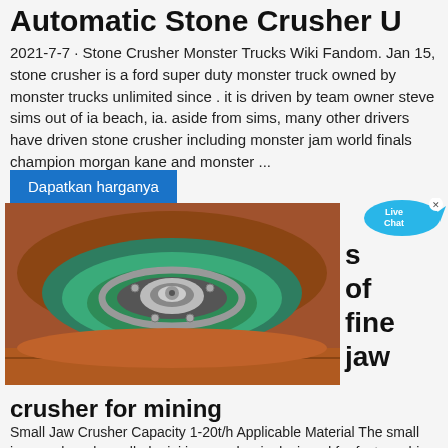Automatic Stone Crusher U
2021-7-7 · Stone Crusher Monster Trucks Wiki Fandom. Jan 15, stone crusher is a ford super duty monster truck owned by monster trucks unlimited since . it is driven by team owner steve sims out of ia beach, ia. aside from sims, many other drivers have driven stone crusher including monster jam world finals champion morgan kane and monster ...
Dapatkan harganya
[Figure (photo): Close-up photo of a stone crusher machine showing a green cone-shaped crushing mechanism with a metallic center bolt, surrounded by an orange/rust-colored body.]
s of fine jaw
crusher for mining
Small Jaw Crusher Capacity 1-20t/h Applicable Material The small jaw crusher also called mini jaw crusher is designed for fast crushing of aggregates ores minerals coal coke chemicals